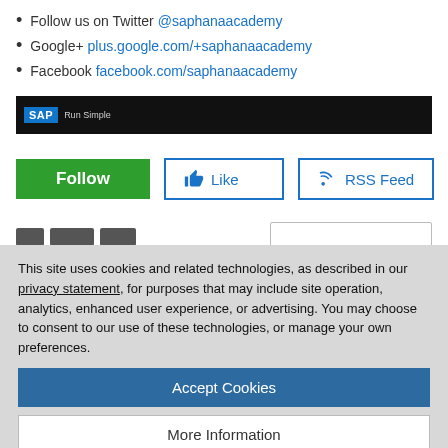Follow us on Twitter @saphanaacademy
Google+ plus.google.com/+saphanaacademy
Facebook facebook.com/saphanaacademy
[Figure (screenshot): SAP Run Simple dark banner logo]
[Figure (screenshot): Follow button (green), Like button (outlined), RSS Feed button (outlined)]
This site uses cookies and related technologies, as described in our privacy statement, for purposes that may include site operation, analytics, enhanced user experience, or advertising. You may choose to consent to our use of these technologies, or manage your own preferences.
Accept Cookies
More Information
Privacy Policy | Powered by: TrustArc
SAP HANA geospatial content